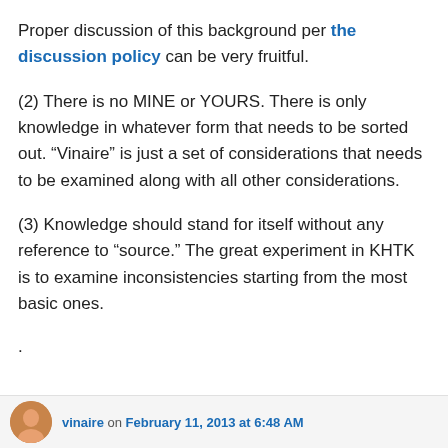Proper discussion of this background per the discussion policy can be very fruitful.
(2) There is no MINE or YOURS. There is only knowledge in whatever form that needs to be sorted out. “Vinaire” is just a set of considerations that needs to be examined along with all other considerations.
(3) Knowledge should stand for itself without any reference to “source.” The great experiment in KHTK is to examine inconsistencies starting from the most basic ones.
.
vinaire on February 11, 2013 at 6:48 AM